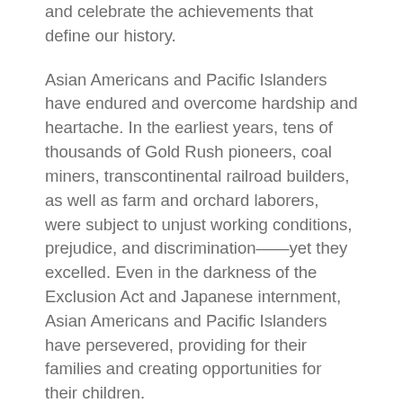and celebrate the achievements that define our history.
Asian Americans and Pacific Islanders have endured and overcome hardship and heartache. In the earliest years, tens of thousands of Gold Rush pioneers, coal miners, transcontinental railroad builders, as well as farm and orchard laborers, were subject to unjust working conditions, prejudice, and discrimination——yet they excelled. Even in the darkness of the Exclusion Act and Japanese internment, Asian Americans and Pacific Islanders have persevered, providing for their families and creating opportunities for their children.
Amidst these struggles, Asian Americans and Pacific Islanders have contributed in great and significant ways to all aspects of society. They have created works of literature and art, thrived as American athletes, and prospered in the world of academia. Asian Americans and Pacific